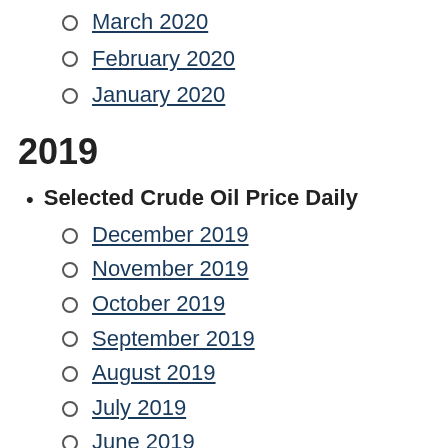March 2020
February 2020
January 2020
2019
Selected Crude Oil Price Daily
December 2019
November 2019
October 2019
September 2019
August 2019
July 2019
June 2019